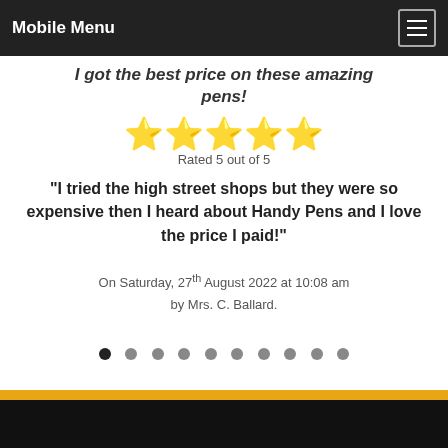Mobile Menu
I got the best price on these amazing pens!
[Figure (other): Five gold star rating icons]
Rated 5 out of 5
“I tried the high street shops but they were so expensive then I heard about Handy Pens and I love the price I paid!”
On Saturday, 27th August 2022 at 10:08 am
by Mrs. C. Ballard.